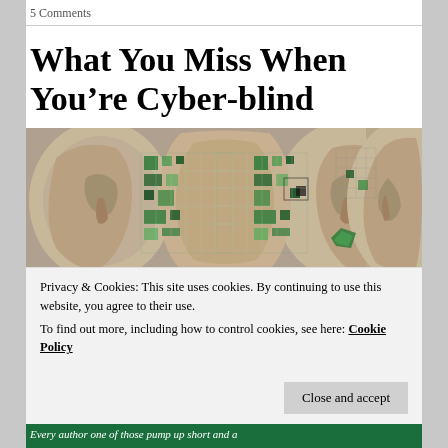5 Comments
What You Miss When You’re Cyber-blind
[Figure (photo): Digital illustration showing two silver mannequin-like human faces facing inward toward each other, with green and white digital grid/pixel patterns between them forming a cyberspace visual, and a beige/brown abstract shape in the center.]
Privacy & Cookies: This site uses cookies. By continuing to use this website, you agree to their use.
To find out more, including how to control cookies, see here: Cookie Policy
Close and accept
Every author one of those pump up short and a